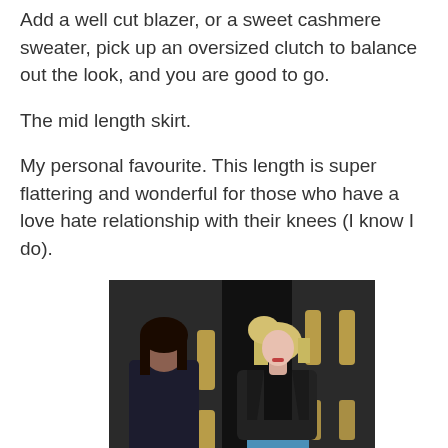Add a well cut blazer, or a sweet cashmere sweater, pick up an oversized clutch to balance out the look, and you are good to go.
The mid length skirt.
My personal favourite. This length is super flattering and wonderful for those who have a love hate relationship with their knees (I know I do).
[Figure (photo): Two people standing in front of a dark entrance with gold door handles. On the left is a dark-haired person in a dark outfit. On the right is a blonde woman wearing a black leather jacket over a dark top and a blue skirt.]